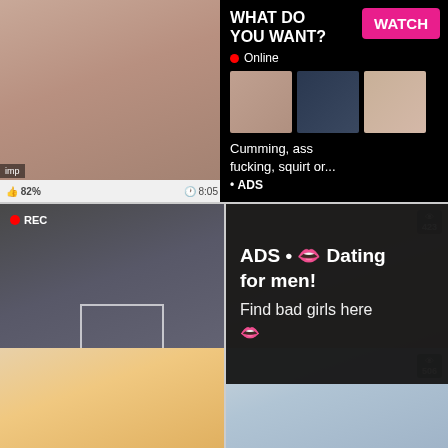[Figure (photo): Video thumbnail grid - adult content website screenshot with overlaid ads]
WHAT DO YOU WANT?
WATCH
Online
Cumming, ass fucking, squirt or...
• ADS
imp
82%
8:05
en
74%
10:00
716
REC
ADS • 👄 Dating for men! Find bad girls here 👄
423
spui
88%
10:24
ALURAJENSON
72%
8:00
506